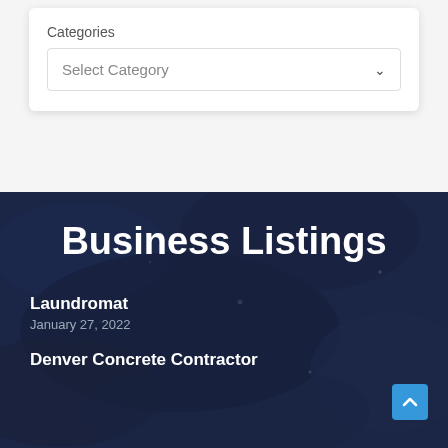Categories
Select Category
Business Listings
Laundromat
January 27, 2022
Denver Concrete Contractor